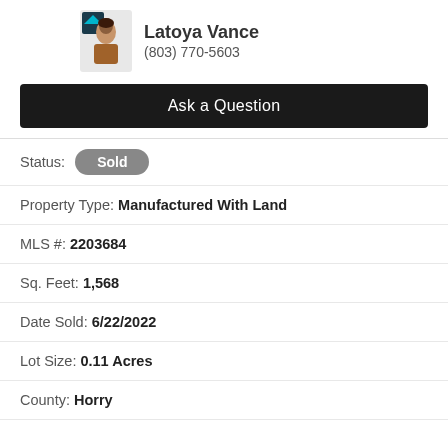[Figure (photo): Agent photo of Latoya Vance with house icon logo]
Latoya Vance
(803) 770-5603
Ask a Question
Status: Sold
Property Type: Manufactured With Land
MLS #: 2203684
Sq. Feet: 1,568
Date Sold: 6/22/2022
Lot Size: 0.11 Acres
County: Horry